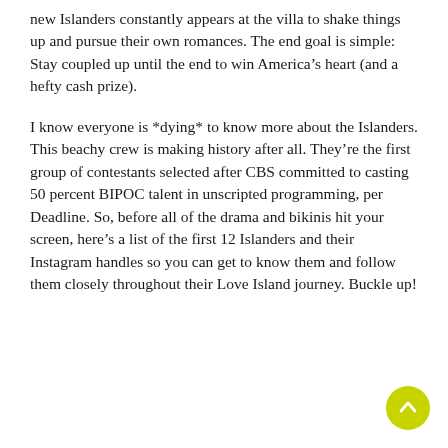new Islanders constantly appears at the villa to shake things up and pursue their own romances. The end goal is simple: Stay coupled up until the end to win America's heart (and a hefty cash prize).
I know everyone is *dying* to know more about the Islanders. This beachy crew is making history after all. They're the first group of contestants selected after CBS committed to casting 50 percent BIPOC talent in unscripted programming, per Deadline. So, before all of the drama and bikinis hit your screen, here's a list of the first 12 Islanders and their Instagram handles so you can get to know them and follow them closely throughout their Love Island journey. Buckle up!